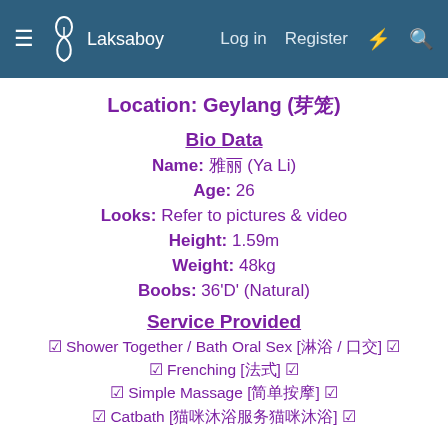Laksaboy   Log in   Register
Location: Geylang (芽笼)
Bio Data
Name: 雅丽 (Ya Li)
Age: 26
Looks: Refer to pictures & video
Height: 1.59m
Weight: 48kg
Boobs: 36'D' (Natural)
Service Provided
☑ Shower Together / Bath Oral Sex [淋浴 / 口交] ☑
☑ Frenching [法式] ☑
☑ Simple Massage [简单按摩] ☑
☑ Catbath [猫咪沐浴服务猫咪沐浴] ☑